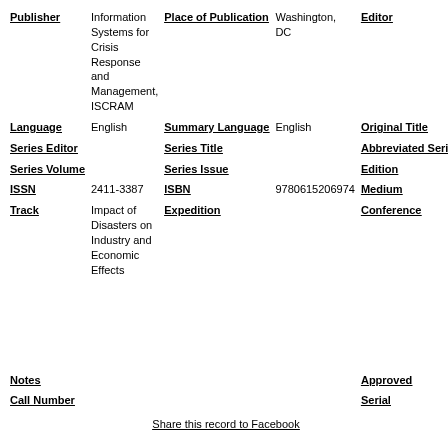| Publisher | Information Systems for Crisis Response and Management, ISCRAM | Place of Publication | Washington, DC | Editor | F. Fiedrich, B. Van de Walle |
| Language | English | Summary Language | English | Original Title |  |
| Series Editor |  | Series Title |  | Abbreviated Series Title |  |
| Series Volume |  | Series Issue |  | Edition |  |
| ISSN | 2411-3387 | ISBN | 9780615206974 | Medium |  |
| Track | Impact of Disasters on Industry and Economic Effects | Expedition |  | Conference | 5th International ISCRAM Conference on Information Systems for Crisis Response and Management |
| Notes |  |  |  | Approved | no |
| Call Number |  |  |  | Serial | 481 |
Share this record to Facebook